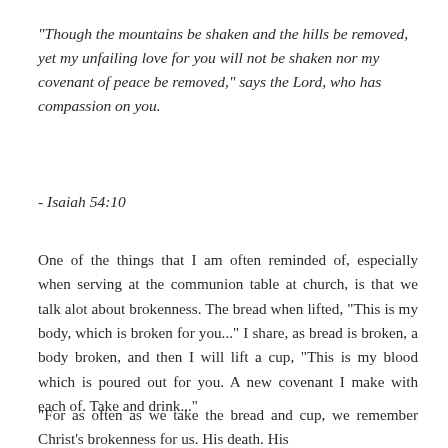"Though the mountains be shaken and the hills be removed, yet my unfailing love for you will not be shaken nor my covenant of peace be removed," says the Lord, who has compassion on you.
- Isaiah 54:10
One of the things that I am often reminded of, especially when serving at the communion table at church, is that we talk alot about brokenness. The bread when lifted, "This is my body, which is broken for you..." I share, as bread is broken, a body broken, and then I will lift a cup, "This is my blood which is poured out for you. A new covenant I make with each of. Take and drink..."
"For as often as we take the bread and cup, we remember Christ's brokenness for us. His death. His